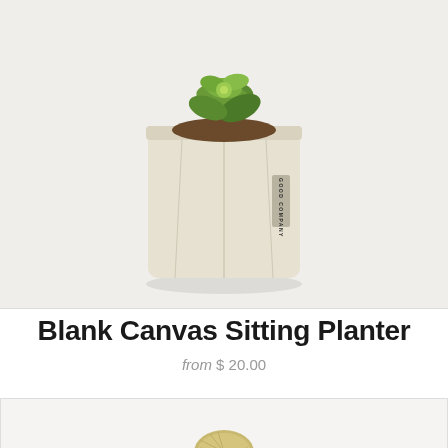[Figure (photo): A cream/beige canvas fabric sitting planter pot with a succulent plant inside, labeled 'GOOD COMPANY', on a light grey background.]
Blank Canvas Sitting Planter
from $ 20.00
[Figure (photo): A hanging planter with a metallic V-shaped frame, wooden disc at top, and a small white ceramic pot at the bottom holding a green plant, on a white background.]